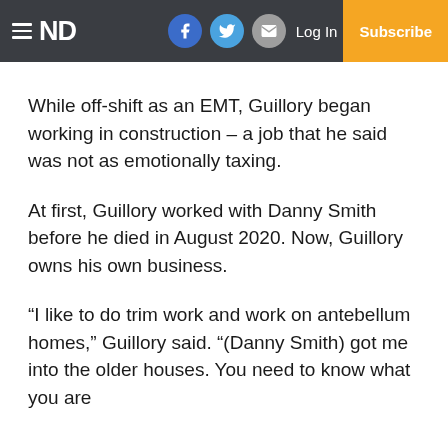ND | Log In | Subscribe
While off-shift as an EMT, Guillory began working in construction – a job that he said was not as emotionally taxing.
At first, Guillory worked with Danny Smith before he died in August 2020. Now, Guillory owns his own business.
“I like to do trim work and work on antebellum homes,” Guillory said. “(Danny Smith) got me into the older houses. You need to know what you are